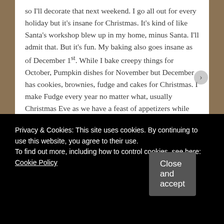so I'll decorate that next weekend. I go all out for every holiday but it's insane for Christmas. It's kind of like Santa's workshop blew up in my home, minus Santa. I'll admit that. But it's fun. My baking also goes insane as of December 1st. While I bake creepy things for October, Pumpkin dishes for November but December has cookies, brownies, fudge and cakes for Christmas. I make Fudge every year no matter what, usually Christmas Eve as we have a feast of appetizers while we watch It's a Wonderful Life and open one gift each and fudge is
Privacy & Cookies: This site uses cookies. By continuing to use this website, you agree to their use.
To find out more, including how to control cookies, see here: Cookie Policy
Close and accept